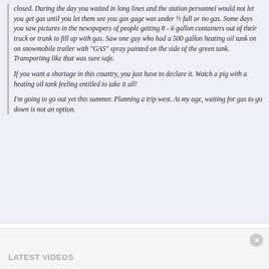closed. During the day you waited in long lines and the station personnel would not let you get gas until you let them see you gas gage was under ½ full or no gas. Some days you saw pictures in the newspapers of people getting 8 - 6 gallon containers out of their truck or trunk to fill up with gas. Saw one guy who had a 500 gallon heating oil tank on on snowmobile trailer with "GAS" spray painted on the side of the green tank. Transporting like that was sure safe.

If you want a shortage in this country, you just have to declare it. Watch a pig with a heating oil tank feeling entitled to take it all!

I'm going to go out yet this summer. Planning a trip west. At my age, waiting for gas to go down is not an option.
In those years I had tanks at home, sometimes it took more early planning to get them filled but I had more of a buffer. My dad worked in the auto factory during the second world war and he had a gas allotment, tire allotment and a set of blackout lights for vehicle. He had to stay until the war was over, then buy his own gas.
LATEST VIDEOS